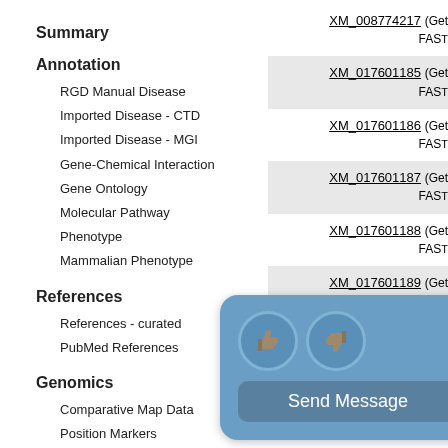Summary
Annotation
RGD Manual Disease
Imported Disease - CTD
Imported Disease - MGI
Gene-Chemical Interaction
Gene Ontology
Molecular Pathway
Phenotype
Mammalian Phenotype
References
References - curated
PubMed References
Genomics
Comparative Map Data
Position Markers
QTLs in Region (mRatBN7.2)
Related Rat Strains
XM_008774217 (Get FAST...
XM_017601185 (Get FAST...
XM_017601186 (Get FAST...
XM_017601187 (Get FAST...
XM_017601188 (Get FAST...
XM_017601189 (Get FAST...
XM_017601190 (Get FAST...
XM_039097502 (Get FAST...
[Figure (screenshot): Feedback popup with thumbs up and thumbs down buttons and a Send Message button with a red X close button]